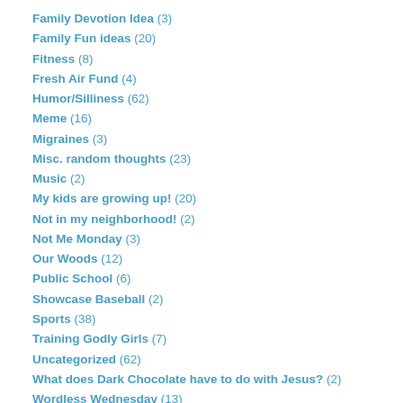Family Devotion Idea (3)
Family Fun ideas (20)
Fitness (8)
Fresh Air Fund (4)
Humor/Silliness (62)
Meme (16)
Migraines (3)
Misc. random thoughts (23)
Music (2)
My kids are growing up! (20)
Not in my neighborhood! (2)
Not Me Monday (3)
Our Woods (12)
Public School (6)
Showcase Baseball (2)
Sports (38)
Training Godly Girls (7)
Uncategorized (62)
What does Dark Chocolate have to do with Jesus? (2)
Wordless Wednesday (13)